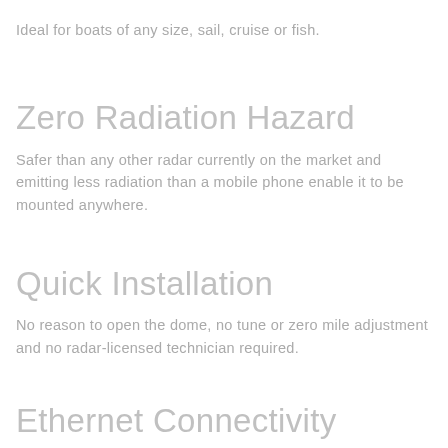Ideal for boats of any size, sail, cruise or fish.
Zero Radiation Hazard
Safer than any other radar currently on the market and emitting less radiation than a mobile phone enable it to be mounted anywhere.
Quick Installation
No reason to open the dome, no tune or zero mile adjustment and no radar-licensed technician required.
Ethernet Connectivity